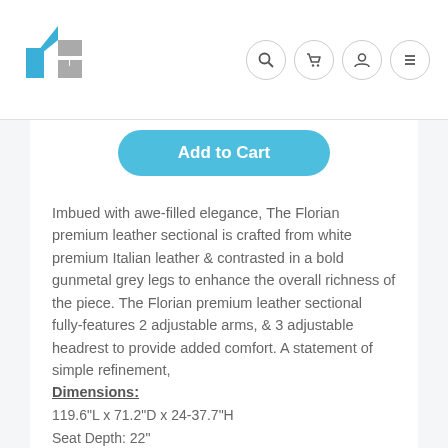[Figure (logo): Blue and grey house/building logo]
[Figure (other): Navigation icons: search, cart, user, menu]
Add to Cart
Imbued with awe-filled elegance, The Florian premium leather sectional is crafted from white premium Italian leather & contrasted in a bold gunmetal grey legs to enhance the overall richness of the piece. The Florian premium leather sectional fully-features 2 adjustable arms, & 3 adjustable headrest to provide added comfort. A statement of simple refinement,
Dimensions:
119.6"L x 71.2"D x 24-37.7"H
Seat Depth: 22"
Seat Height: 18.1"
Arm Height: 22-29.5"
Sku: 22-17246